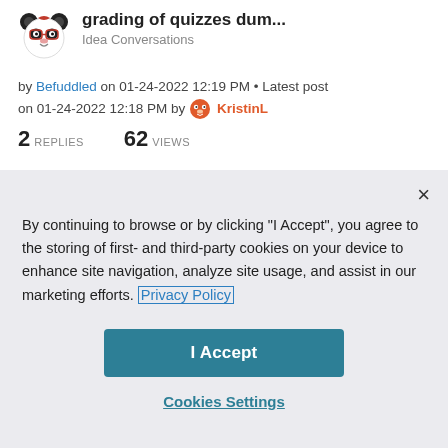[Figure (illustration): Panda avatar with glasses and red accessories]
grading of quizzes dum...
Idea Conversations
by Befuddled on 01-24-2022 12:19 PM • Latest post on 01-24-2022 12:18 PM by KristinL
2 REPLIES   62 VIEWS
By continuing to browse or by clicking "I Accept", you agree to the storing of first- and third-party cookies on your device to enhance site navigation, analyze site usage, and assist in our marketing efforts. Privacy Policy
I Accept
Cookies Settings